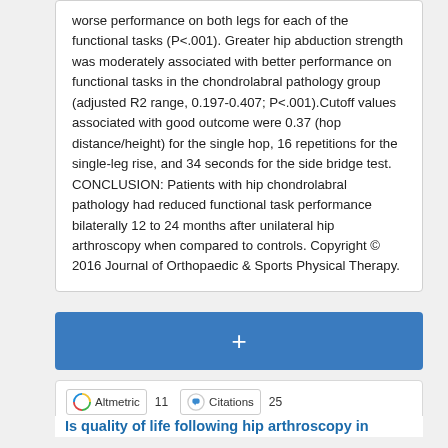worse performance on both legs for each of the functional tasks (P<.001). Greater hip abduction strength was moderately associated with better performance on functional tasks in the chondrolabral pathology group (adjusted R2 range, 0.197-0.407; P<.001).Cutoff values associated with good outcome were 0.37 (hop distance/height) for the single hop, 16 repetitions for the single-leg rise, and 34 seconds for the side bridge test. CONCLUSION: Patients with hip chondrolabral pathology had reduced functional task performance bilaterally 12 to 24 months after unilateral hip arthroscopy when compared to controls. Copyright © 2016 Journal of Orthopaedic & Sports Physical Therapy.
[Figure (other): Blue button with a plus (+) symbol, used as an expand/collapse toggle]
[Figure (infographic): Altmetric badge showing score of 11 and Citations badge showing 25]
Is quality of life following hip arthroscopy in patients with chondrolabral pathology...